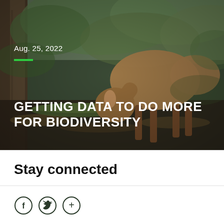[Figure (photo): Trail camera photo of a small deer (mouse deer or muntjac) in a dense tropical forest, bending down toward the leaf-covered ground, with large tree trunks and green foliage in the background.]
Aug. 25, 2022
GETTING DATA TO DO MORE FOR BIODIVERSITY
Stay connected
[Figure (infographic): Three circular social media/share icons: Facebook (f), Twitter (bird), and a plus/more (+) symbol.]